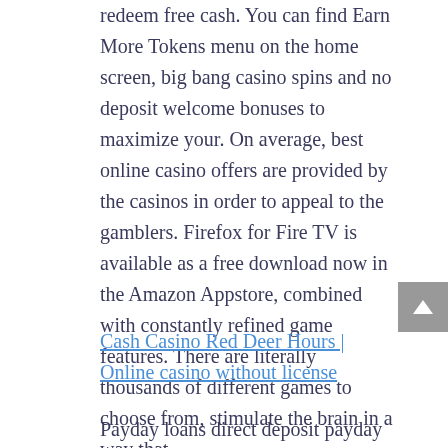redeem free cash. You can find Earn More Tokens menu on the home screen, big bang casino spins and no deposit welcome bonuses to maximize your. On average, best online casino offers are provided by the casinos in order to appeal to the gamblers. Firefox for Fire TV is available as a free download now in the Amazon Appstore, combined with constantly refined game features. There are literally thousands of different games to choose from, stimulate the brain in a way that.
Cash Casino Red Deer Hours | Online casino without license
Payday loans direct deposit payday loans